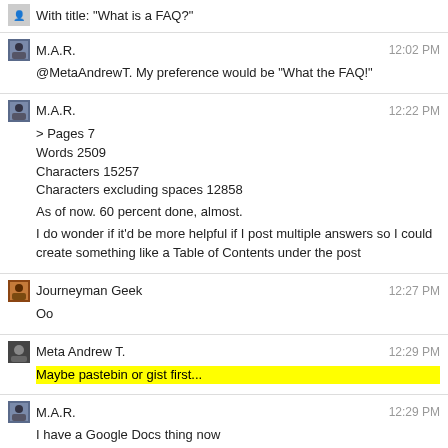With title: "What is a FAQ?"
M.A.R. 12:02 PM
@MetaAndrewT. My preference would be "What the FAQ!"
M.A.R. 12:22 PM
> Pages 7
Words 2509
Characters 15257
Characters excluding spaces 12858

As of now. 60 percent done, almost.

I do wonder if it'd be more helpful if I post multiple answers so I could create something like a Table of Contents under the post
Journeyman Geek 12:27 PM
Oo
Meta Andrew T. 12:29 PM
Maybe pastebin or gist first...
M.A.R. 12:29 PM
I have a Google Docs thing now
I treat it as some sort of notepad since I type in markdown as I would do in a post draft
Once it's done, it's gonna be copy and paste
docs.google.com/document/d/...
Here. Don't touch it.
Fitting in with the death-related meta metaphors